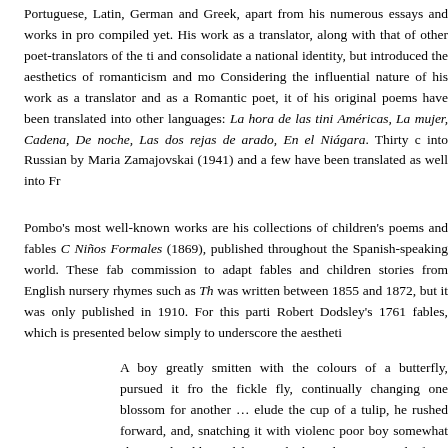Portuguese, Latin, German and Greek, apart from his numerous essays and works in pro compiled yet. His work as a translator, along with that of other poet-translators of the ti and consolidate a national identity, but introduced the aesthetics of romanticism and mo Considering the influential nature of his work as a translator and as a Romantic poet, it of his original poems have been translated into other languages: La hora de las tini Américas, La mujer, Cadena, De noche, Las dos rejas de arado, En el Niágara. Thirty c into Russian by Maria Zamajovskai (1941) and a few have been translated as well into Fr
Pombo's most well-known works are his collections of children's poems and fables C Niños Formales (1869), published throughout the Spanish-speaking world. These fab commission to adapt fables and children stories from English nursery rhymes such as Th was written between 1855 and 1872, but it was only published in 1910. For this parti Robert Dodsley's 1761 fables, which is presented below simply to underscore the aestheti
A boy greatly smitten with the colours of a butterfly, pursued it fro the fickle fly, continually changing one blossom for another … elude the cup of a tulip, he rushed forward, and, snatching it with violenc poor boy somewhat chagrined, addressed him with the calmness o end of my unprofitable solicitude! And learn that pleasure is but a amuse thee in the pursuit, if embraced with too much ardour, will pe